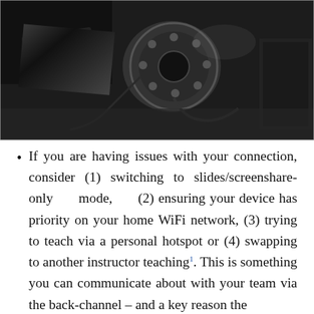[Figure (photo): Black and white close-up photograph of an old rotary telephone with disassembled parts, dial, cords, and mechanical components visible on a dark surface.]
If you are having issues with your connection, consider (1) switching to slides/screenshare-only mode, (2) ensuring your device has priority on your home WiFi network, (3) trying to teach via a personal hotspot or (4) swapping to another instructor teaching¹. This is something you can communicate about with your team via the back-channel – and a key reason the